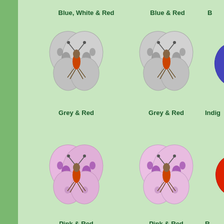Blue, White & Red
Blue & Red
B...
[Figure (illustration): Grey & Red butterfly sprite (first), grey wings with red body]
Grey & Red
[Figure (illustration): Grey & Red butterfly sprite (second), grey wings with red body]
Grey & Red
[Figure (illustration): Indigo butterfly sprite (partially visible)]
Indig...
[Figure (illustration): Pink & Red butterfly sprite (first), pink/lavender wings with red body]
Pink & Red
[Figure (illustration): Pink & Red butterfly sprite (second), pink wings with red body]
Pink & Red
[Figure (illustration): Red butterfly sprite (partially visible)]
R...